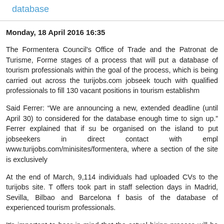database
Monday, 18 April 2016 16:35
The Formentera Council's Office of Trade and the Patronat de Turisme, Forme stages of a process that will put a database of tourism professionals within the goal of the process, which is being carried out across the turijobs.com jobseek touch with qualified professionals to fill 130 vacant positions in tourism establishm
Said Ferrer: “We are announcing a new, extended deadline (until April 30) to considered for the database enough time to sign up.” Ferrer explained that if su be organised on the island to put jobseekers in direct contact with empl www.turijobs.com/minisites/formentera, where a section of the site is exclusively
At the end of March, 9,114 individuals had uploaded CVs to the turijobs site. T offers took part in staff selection days in Madrid, Sevilla, Bilbao and Barcelona f basis of the database of experienced tourism professionals.
It's important to bear in mind that the actual hiring process will be conducted b has offered to share its technical expertise if employers wish to conduct video from the support of the Eivissa-Formentera chamber of commerce and the P Councillor Ferrer called the project “pioneering” in Europe and referred to its p destination for tourists".